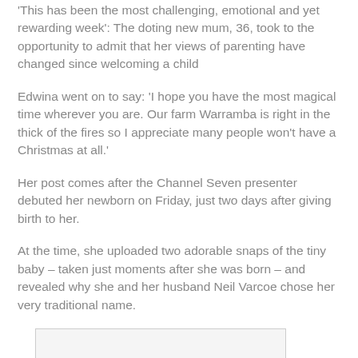'This has been the most challenging, emotional and yet rewarding week': The doting new mum, 36, took to the opportunity to admit that her views of parenting have changed since welcoming a child
Edwina went on to say: 'I hope you have the most magical time wherever you are. Our farm Warramba is right in the thick of the fires so I appreciate many people won't have a Christmas at all.'
Her post comes after the Channel Seven presenter debuted her newborn on Friday, just two days after giving birth to her.
At the time, she uploaded two adorable snaps of the tiny baby – taken just moments after she was born – and revealed why she and her husband Neil Varcoe chose her very traditional name.
[Figure (photo): Partial image visible at bottom of page, appears to be a photo related to the article about Edwina and her newborn.]